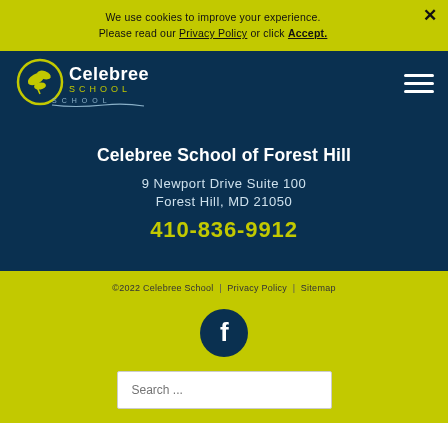We use cookies to improve your experience. Please read our Privacy Policy or click Accept.
[Figure (logo): Celebree School logo with circular leaf/branch icon and text 'Celebree SCHOOL' in white and yellow-green on dark navy background]
Celebree School of Forest Hill
9 Newport Drive Suite 100
Forest Hill, MD 21050
410-836-9912
© 2022 Celebree School  |  Privacy Policy  |  Sitemap
[Figure (logo): Facebook icon - white 'f' letter on dark navy circle]
Search ...